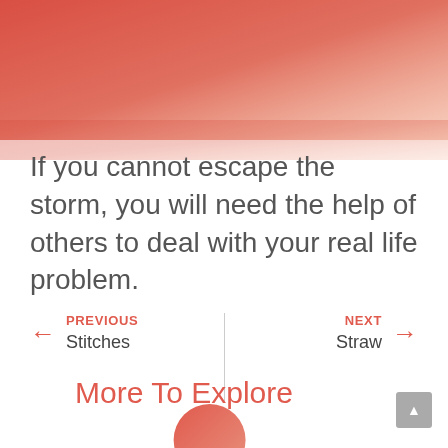[Figure (illustration): Coral to peach gradient background occupying the top portion of the page]
If you cannot escape the storm, you will need the help of others to deal with your real life problem.
← PREVIOUS
Stitches
NEXT →
Straw
More To Explore